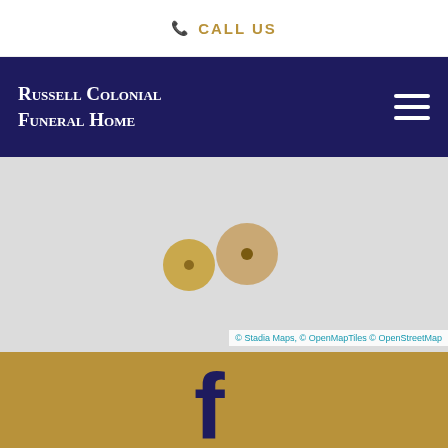CALL US
Russell Colonial Funeral Home
[Figure (map): Map with two location pins (gold circles with darker center dots) on a light gray map background. Attribution reads: © Stadia Maps, © OpenMapTiles © OpenStreetMap]
© Stadia Maps, © OpenMapTiles © OpenStreetMap
[Figure (logo): Partial Facebook logo icon (f) in dark navy blue, partially visible at the bottom of the gold footer area]